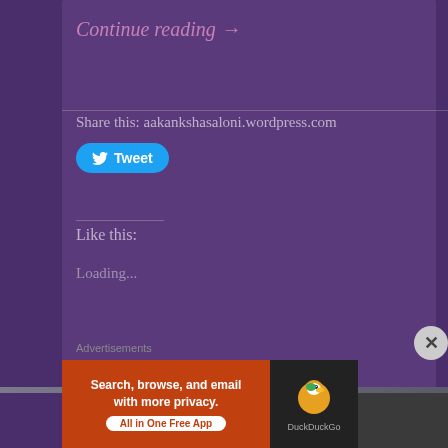Continue reading →
Share this: aakankshasaloni.wordpress.com
[Figure (other): Twitter Tweet button (blue rounded button with bird icon and 'Tweet' text)]
Like this:
Loading...
Advertisements
[Figure (other): DuckDuckGo advertisement banner with orange background: 'Search, browse, and email with more privacy. All in One Free App' and DuckDuckGo logo on dark panel]